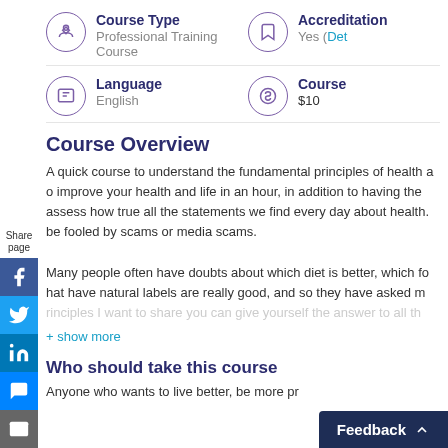Course Type
Professional Training Course
Accreditation
Yes (Details...)
Language
English
Course Price
$10
Course Overview
A quick course to understand the fundamental principles of health and to improve your health and life in an hour, in addition to having the tools to assess how true all the statements we find every day about health. Not to be fooled by scams or media scams.

Many people often have doubts about which diet is better, which foods that have natural labels are really good, and so they have asked me... with the principles I want to share you can give yourself the answer to all th...
+ show more
Who should take this course
Anyone who wants to live better, be more pr...